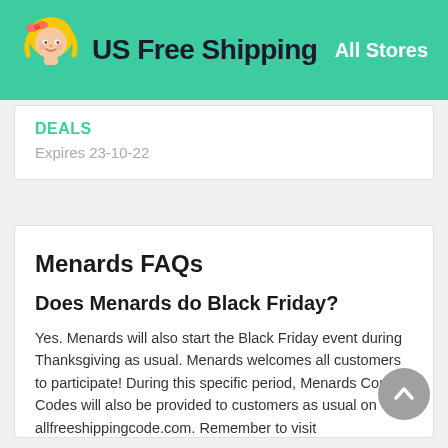US Free Shipping | All Stores
DEALS
Expires 23-10-22
Menards FAQs
Does Menards do Black Friday?
Yes. Menards will also start the Black Friday event during Thanksgiving as usual. Menards welcomes all customers to participate! During this specific period, Menards Coupon Codes will also be provided to customers as usual on allfreeshippingcode.com. Remember to visit allfreeshippingcode.com to know the first hand bargain information of Menards's Black Friday.